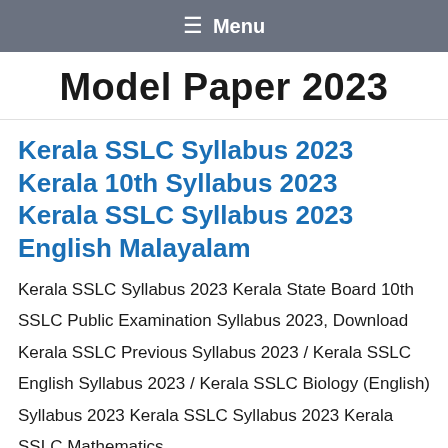≡ Menu
Model Paper 2023
Kerala SSLC Syllabus 2023 Kerala 10th Syllabus 2023 Kerala SSLC Syllabus 2023 English Malayalam
Kerala SSLC Syllabus 2023 Kerala State Board 10th SSLC Public Examination Syllabus 2023, Download Kerala SSLC Previous Syllabus 2023 / Kerala SSLC English Syllabus 2023 / Kerala SSLC Biology (English) Syllabus 2023 Kerala SSLC Syllabus 2023 Kerala SSLC Mathematics